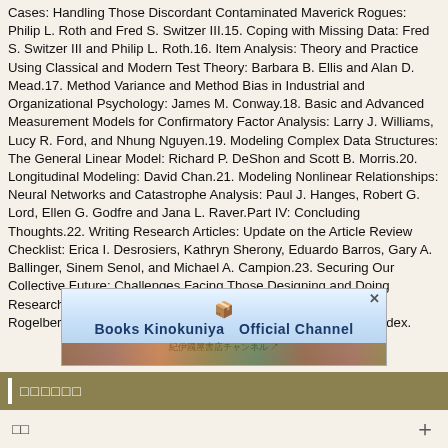Cases: Handling Those Discordant Contaminated Maverick Rogues: Philip L. Roth and Fred S. Switzer III.15. Coping with Missing Data: Fred S. Switzer III and Philip L. Roth.16. Item Analysis: Theory and Practice Using Classical and Modern Test Theory: Barbara B. Ellis and Alan D. Mead.17. Method Variance and Method Bias in Industrial and Organizational Psychology: James M. Conway.18. Basic and Advanced Measurement Models for Confirmatory Factor Analysis: Larry J. Williams, Lucy R. Ford, and Nhung Nguyen.19. Modeling Complex Data Structures: The General Linear Model: Richard P. DeShon and Scott B. Morris.20. Longitudinal Modeling: David Chan.21. Modeling Nonlinear Relationships: Neural Networks and Catastrophe Analysis: Paul J. Hanges, Robert G. Lord, Ellen G. Godfre and Jana L. Raver.Part IV: Concluding Thoughts.22. Writing Research Articles: Update on the Article Review Checklist: Erica I. Desrosiers, Kathryn Sherony, Eduardo Barros, Gary A. Ballinger, Sinem Senol, and Michael A. Campion.23. Securing Our Collective Future: Challenges Facing Those Designing and Doing Research in Industrial and Organizational Psychology: Steven G. Rogelberg and Margaret E. Brooks-Laber.Name Index.Subject Index.
[Figure (other): Books Kinokuniya Official Channel advertisement banner with book spines background and a close button]
□□□□□□
□□ +